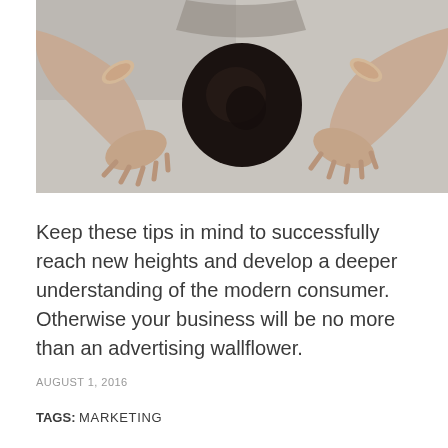[Figure (photo): Overhead view of a person bowing their head down with both hands placed flat on the floor on either side, seen from above on a gray surface.]
Keep these tips in mind to successfully reach new heights and develop a deeper understanding of the modern consumer. Otherwise your business will be no more than an advertising wallflower.
AUGUST 1, 2016
TAGS: MARKETING